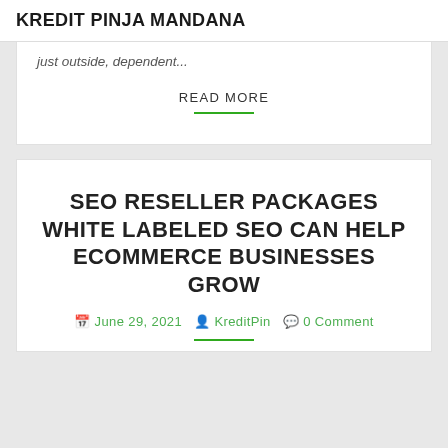KREDIT PINJA MANDANA
just outside, dependent...
READ MORE
SEO RESELLER PACKAGES WHITE LABELED SEO CAN HELP ECOMMERCE BUSINESSES GROW
June 29, 2021  KreditPin  0 Comment